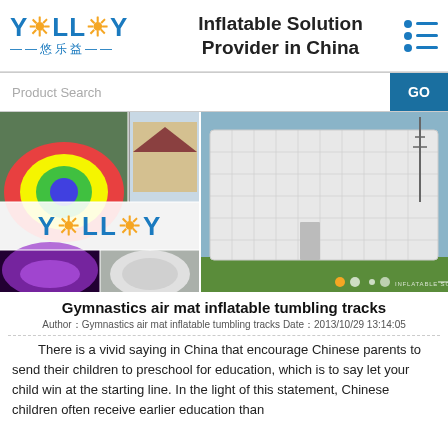[Figure (logo): YOLLOY (悠乐益) company logo with sun graphic and tagline Inflatable Solution Provider in China]
[Figure (screenshot): Product search bar with GO button]
[Figure (photo): Banner image collage showing inflatable domes, YOLLOY logo, a large white inflatable cube building on grass, with slideshow dots]
Gymnastics air mat inflatable tumbling tracks
Author：Gymnastics air mat inflatable tumbling tracks Date：2013/10/29 13:14:05
There is a vivid saying in China that encourage Chinese parents to send their children to preschool for education, which is to say let your child win at the starting line. In the light of this statement, Chinese children often receive earlier education than